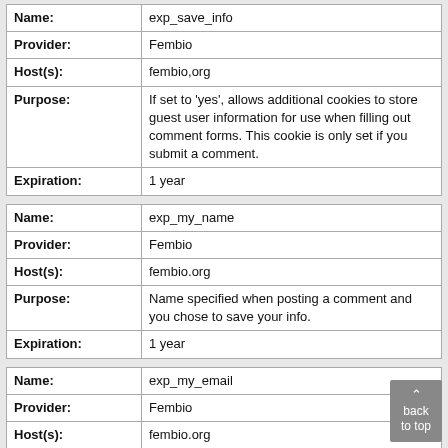| Field | Value |
| --- | --- |
| Name: | exp_save_info |
| Provider: | Fembio |
| Host(s): | fembio,org |
| Purpose: | If set to 'yes', allows additional cookies to store guest user information for use when filling out comment forms. This cookie is only set if you submit a comment. |
| Expiration: | 1 year |
| Field | Value |
| --- | --- |
| Name: | exp_my_name |
| Provider: | Fembio |
| Host(s): | fembio.org |
| Purpose: | Name specified when posting a comment and you chose to save your info. |
| Expiration: | 1 year |
| Field | Value |
| --- | --- |
| Name: | exp_my_email |
| Provider: | Fembio |
| Host(s): | fembio.org |
| Purpose: | Email address specified when posting a comment and you chose to save your info. |
| Expiration: | 1 year |
MARKETING COOKIES